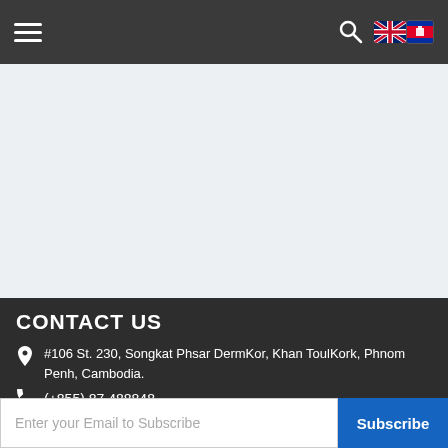Navigation bar with hamburger menu, search icon, and flag icons (UK, Cambodia)
[Figure (screenshot): Light gray blank content area]
CONTACT US
#106 St. 230, Songkat Phsar DermKor, Khan ToulKork, Phnom Penh, Cambodia.
(+855) 87 488848
imobi@gmail.com
Enter your Email to Subscribe
Subscribe